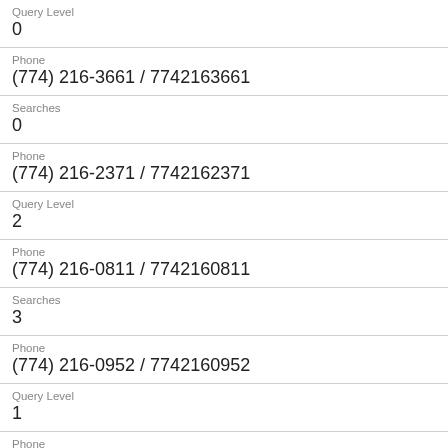Query Level
0
Phone
(774) 216-3661 / 7742163661
Searches
0
Phone
(774) 216-2371 / 7742162371
Query Level
2
Phone
(774) 216-0811 / 7742160811
Searches
3
Phone
(774) 216-0952 / 7742160952
Query Level
1
Phone